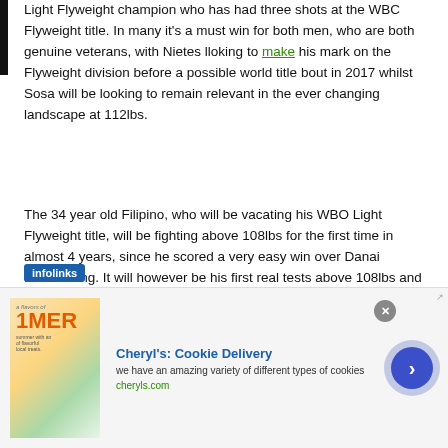Light Flyweight champion who has had three shots at the WBC Flyweight title. In many it's a must win for both men, who are both genuine veterans, with Nietes lloking to make his mark on the Flyweight division before a possible world title bout in 2017 whilst Sosa will be looking to remain relevant in the ever changing landscape at 112lbs.
The 34 year old Filipino, who will be vacating his WBO Light Flyweight title, will be fighting above 108lbs for the first time in almost 4 years, since he scored a very easy win over Danai Meendaeng. It will however be his first real tests above 108lbs and will see him fight for some minor WBO bauble, the WBO Inter-Continental Flyweight, as he attempts to keep relations good with the WBO, with whom he has has held world titles at Minimumweight and Light Flyweight. He will also be to extend an unbeaten streak that began in 2004
[Figure (infographic): Infolinks advertisement overlay with Cheryl's Cookie Delivery ad banner showing a cookie image, ad title, description text 'we have an amazing variety of different types of cookies', URL 'cheryls.com', a close button, and a forward arrow button]